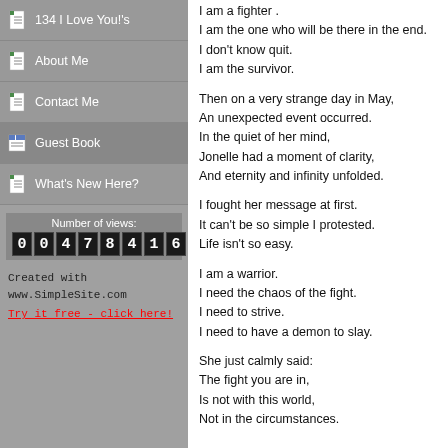134 I Love You!'s
About Me
Contact Me
Guest Book
What's New Here?
Number of views: 0047816
Created with www.SimpleSite.com Try it free - click here!
I am a fighter .
I am the one who will be there in the end.
I don't know quit.
I am the survivor.

Then on a very strange day in May,
An unexpected event occurred.
In the quiet of her mind,
Jonelle had a moment of clarity,
And eternity and infinity unfolded.

I fought her message at first.
It can't be so simple I protested.
Life isn't so easy.

I am a warrior.
I need the chaos of the fight.
I need to strive.
I need to have a demon to slay.

She just calmly said:
The fight you are in,
Is not with this world,
Not in the circumstances.